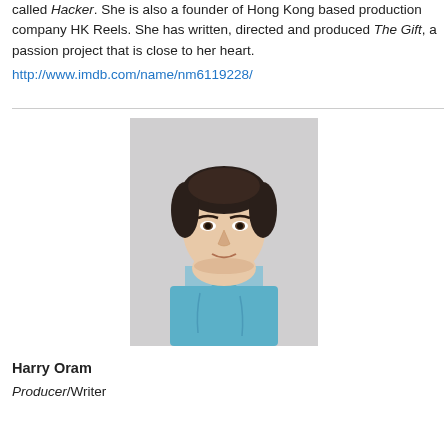called Hacker. She is also a founder of Hong Kong based production company HK Reels. She has written, directed and produced The Gift, a passion project that is close to her heart.
http://www.imdb.com/name/nm6119228/
[Figure (photo): Headshot photo of Harry Oram, a young man with dark hair wearing a light blue shirt, against a light grey background.]
Harry Oram
Producer/Writer